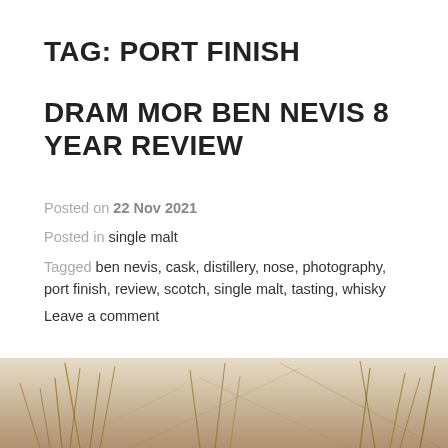TAG: PORT FINISH
DRAM MOR BEN NEVIS 8 YEAR REVIEW
Posted on 22 Nov 2021
Posted in single malt
Tagged ben nevis, cask, distillery, nose, photography, port finish, review, scotch, single malt, tasting, whisky
Leave a comment
[Figure (photo): Close-up photo of dry wheat or grass stalks with a blurred light background]